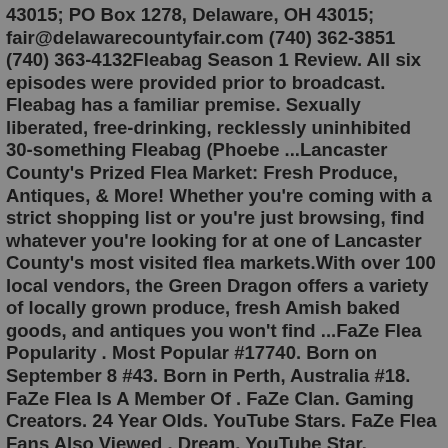43015; PO Box 1278, Delaware, OH 43015; fair@delawarecountyfair.com (740) 362-3851 (740) 363-4132Fleabag Season 1 Review. All six episodes were provided prior to broadcast. Fleabag has a familiar premise. Sexually liberated, free-drinking, recklessly uninhibited 30-something Fleabag (Phoebe ...Lancaster County's Prized Flea Market: Fresh Produce, Antiques, & More! Whether you're coming with a strict shopping list or you're just browsing, find whatever you're looking for at one of Lancaster County's most visited flea markets.With over 100 local vendors, the Green Dragon offers a variety of locally grown produce, fresh Amish baked goods, and antiques you won't find ...FaZe Flea Popularity . Most Popular #17740. Born on September 8 #43. Born in Perth, Australia #18. FaZe Flea Is A Member Of . FaZe Clan. Gaming Creators. 24 Year Olds. YouTube Stars. FaZe Flea Fans Also Viewed . Dream. YouTube Star. RiceGum. YouTube Star. Flamingo. YouTube Star. FaZe Rug. YouTube Star. More September 8 Birthdays Washington Boulevard Marketplace